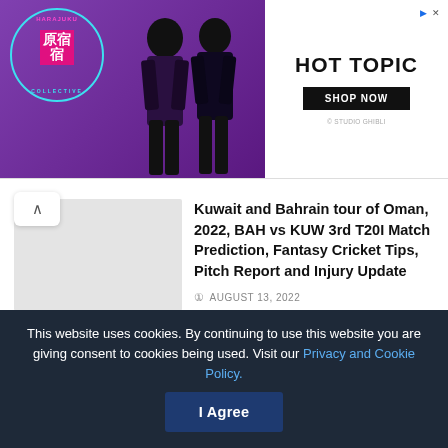[Figure (photo): Harajuku Collective advertisement featuring two costumed figures and Hot Topic branding with SHOP NOW button]
Kuwait and Bahrain tour of Oman, 2022, BAH vs KUW 3rd T20I Match Prediction, Fantasy Cricket Tips, Pitch Report and Injury Update
AUGUST 13, 2022
ECS Germany, Dresden, 2022, BCA vs RCD Final, Match Prediction, Fantasy Cricket Tips, Pitch Report and Injury Update
AUGUST 13, 2022
This website uses cookies. By continuing to use this website you are giving consent to cookies being used. Visit our Privacy and Cookie Policy.